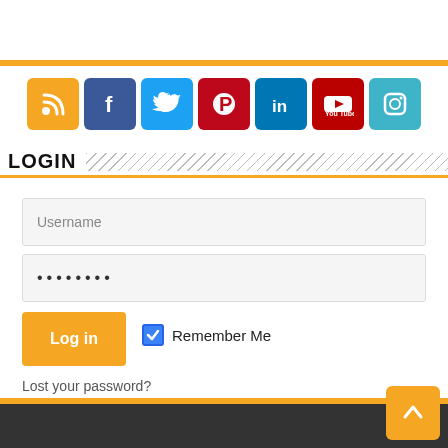[Figure (other): Row of social media icons: RSS (orange), Facebook (dark blue), Twitter (blue), Pinterest (red), LinkedIn (teal), YouTube (dark red), Instagram (light blue)]
LOGIN
Username
········
Log in
Remember Me
Lost your password?